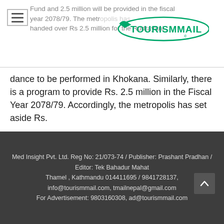Fund and 2.5 million will be provided in the fiscal year 2078/79. The metropolis has handed over Rs 2.5 million for the Rudrayani dance to be performed in Khokana. Similarly, there is a program to provide Rs. 2.5 million in the Fiscal Year 2078/79. Accordingly, the metropolis has set aside Rs.
dance to be performed in Khokana. Similarly, there is a program to provide Rs. 2.5 million in the Fiscal Year 2078/79. Accordingly, the metropolis has set aside Rs.
The procession, which has been postponed for 24 years, started four years ago. Maharjan, the chief of the metropolis, said that it would not be difficult to raise funds for the continuation of Jatra and Nach.
Med Insight Pvt. Ltd. Reg No: 21/073-74 / Publisher: Prashant Pradhan / Editor: Tek Bahadur Mahat
Thamel , Kathmandu 014411695 / 9841728137,
info@tourismmail.com, tmailnepal@gmail.com
For Advertisement: 9803160308, ad@tourismmail.com